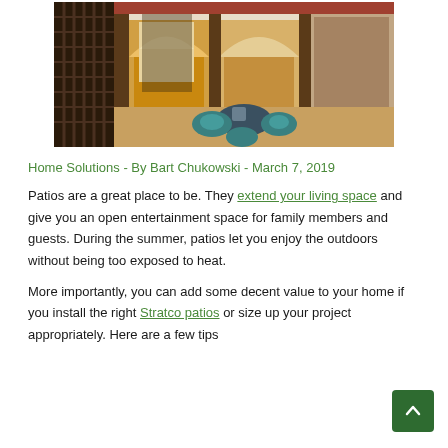[Figure (photo): Outdoor patio of a Mediterranean-style home with arched openings, folding glass doors, a round table with teal cushioned chairs, warm evening lighting, and lush greenery.]
Home Solutions - By Bart Chukowski - March 7, 2019
Patios are a great place to be. They extend your living space and give you an open entertainment space for family members and guests. During the summer, patios let you enjoy the outdoors without being too exposed to heat.
More importantly, you can add some decent value to your home if you install the right Stratco patios or size up your project appropriately. Here are a few tips